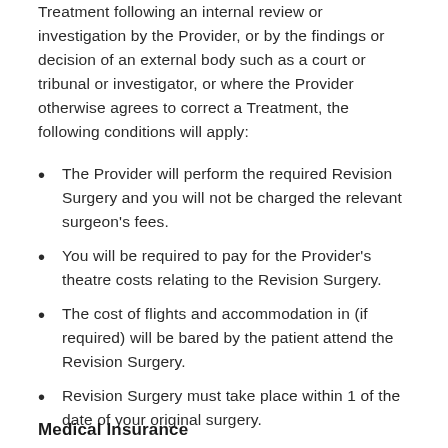Treatment following an internal review or investigation by the Provider, or by the findings or decision of an external body such as a court or tribunal or investigator, or where the Provider otherwise agrees to correct a Treatment, the following conditions will apply:
The Provider will perform the required Revision Surgery and you will not be charged the relevant surgeon's fees.
You will be required to pay for the Provider's theatre costs relating to the Revision Surgery.
The cost of flights and accommodation in (if required) will be bared by the patient attend the Revision Surgery.
Revision Surgery must take place within 1 of the date of your original surgery.
Medical Insurance